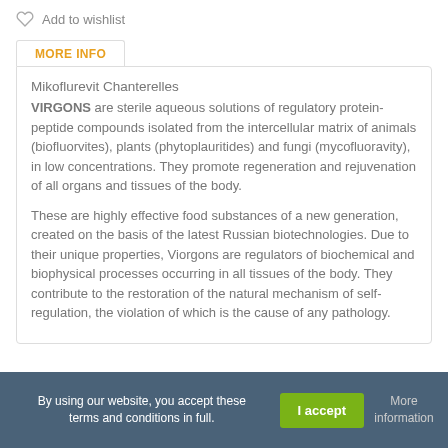Add to wishlist
MORE INFO
Mikoflurevit Chanterelles
VIRGONS are sterile aqueous solutions of regulatory protein-peptide compounds isolated from the intercellular matrix of animals (biofluorvites), plants (phytoplauritides) and fungi (mycofluoravity), in low concentrations. They promote regeneration and rejuvenation of all organs and tissues of the body.
These are highly effective food substances of a new generation, created on the basis of the latest Russian biotechnologies. Due to their unique properties, Viorgons are regulators of biochemical and biophysical processes occurring in all tissues of the body. They contribute to the restoration of the natural mechanism of self-regulation, the violation of which is the cause of any pathology.
By using our website, you accept these terms and conditions in full. | I accept | More information